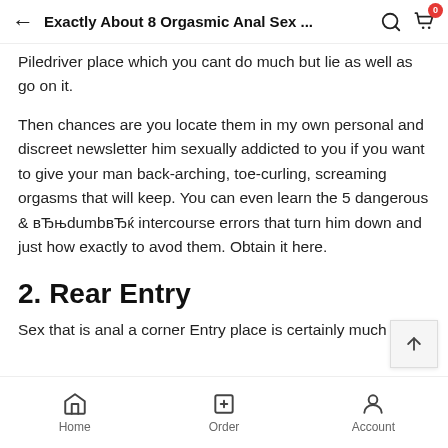Exactly About 8 Orgasmic Anal Sex …
Piledriver place which you cant do much but lie as well as go on it.
Then chances are you locate them in my own personal and discreet newsletter him sexually addicted to you if you want to give your man back-arching, toe-curling, screaming orgasms that will keep. You can even learn the 5 dangerous & вЂњdumbвЂќ intercourse errors that turn him down and just how exactly to avod them. Obtain it here.
2. Rear Entry
Sex that is anal a corner Entry place is certainly much
Home    Order    Account